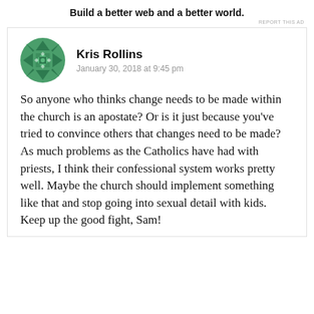Build a better web and a better world.
REPORT THIS AD
Kris Rollins
January 30, 2018 at 9:45 pm

So anyone who thinks change needs to be made within the church is an apostate? Or is it just because you've tried to convince others that changes need to be made?
As much problems as the Catholics have had with priests, I think their confessional system works pretty well. Maybe the church should implement something like that and stop going into sexual detail with kids. Keep up the good fight, Sam!